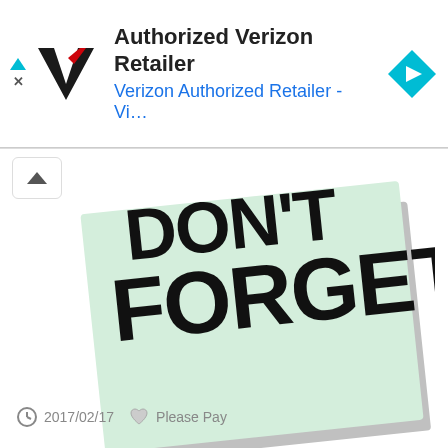[Figure (screenshot): Advertisement banner for Authorized Verizon Retailer with Verizon V logo and navigation icon]
[Figure (illustration): Sticky note illustration with handwritten text 'DON'T FORGET!' on light green note paper]
Public Library A Reminder Civil War Weapons Tomorrow At 3 00
2017/02/17   Please Pay